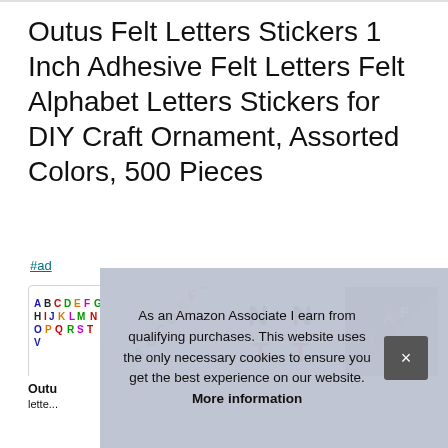Outus Felt Letters Stickers 1 Inch Adhesive Felt Letters Felt Alphabet Letters Stickers for DIY Craft Ornament, Assorted Colors, 500 Pieces
#ad
[Figure (photo): Four product thumbnail images showing colorful felt alphabet letter stickers arranged in rows, diagonal, scattered, and placed on dark fabric surface.]
Outu
lette...
As an Amazon Associate I earn from qualifying purchases. This website uses the only necessary cookies to ensure you get the best experience on our website. More information